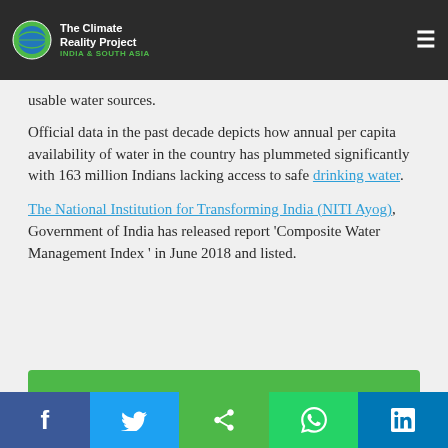The Climate Reality Project INDIA & SOUTH ASIA
usable water sources.
Official data in the past decade depicts how annual per capita availability of water in the country has plummeted significantly with 163 million Indians lacking access to safe drinking water.
The National Institution for Transforming India (NITI Ayog), Government of India has released report ‘Composite Water Management Index ’ in June 2018 and listed.
[Figure (infographic): Green banner with bold white uppercase text beginning: CAPITAL DELHI AND OTHER 21 CITIES IN]
Social share bar: Facebook, Twitter, Share, WhatsApp, LinkedIn